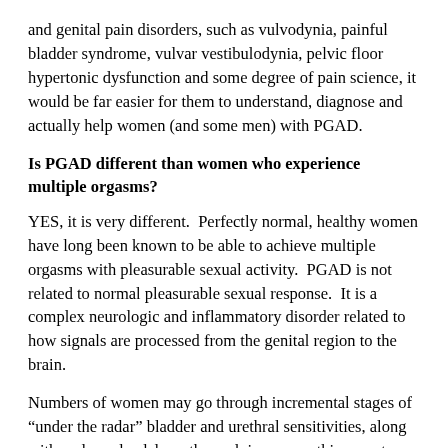and genital pain disorders, such as vulvodynia, painful bladder syndrome, vulvar vestibulodynia, pelvic floor hypertonic dysfunction and some degree of pain science, it would be far easier for them to understand, diagnose and actually help women (and some men) with PGAD.
Is PGAD different than women who experience multiple orgasms?
YES, it is very different.  Perfectly normal, healthy women have long been known to be able to achieve multiple orgasms with pleasurable sexual activity.  PGAD is not related to normal pleasurable sexual response.  It is a complex neurologic and inflammatory disorder related to how signals are processed from the genital region to the brain.
Numbers of women may go through incremental stages of “under the radar” bladder and urethral sensitivities, along with early pudendal or other pelvic neuropathic symptoms, during which time they may initially feel